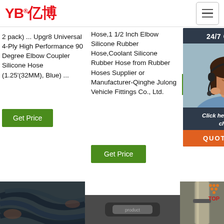YB亿博 - navigation header with hamburger menu
2 pack) ... Upgr8 Universal 4-Ply High Performance 90 Degree Elbow Coupler Silicone Hose (1.25'(32MM), Blue) ...
Get Price
Hose,1 1/2 Inch Elbow Silicone Rubber Hose,Coolant Silicone Rubber Hose from Rubber Hoses Supplier or Manufacturer-Qinghe Julong Vehicle Fittings Co., Ltd.
Get Price
router system, 38mm intercooler piping manufacturer
[Figure (screenshot): 24/7 Online customer service chat widget with woman in headset, dark background, 'Click here for free chat!' text and orange QUOTATION button]
[Figure (photo): Photo of bundled black rubber hoses/cables]
[Figure (photo): Small product image (partially visible)]
[Figure (photo): Photo of a metallic pipe/hose product with TOP icon (orange dots triangle and red TOP text)]